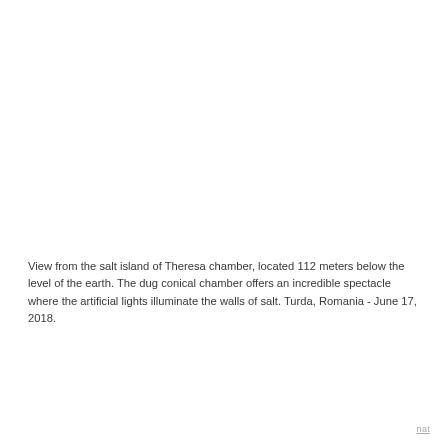View from the salt island of Theresa chamber, located 112 meters below the level of the earth. The dug conical chamber offers an incredible spectacle where the artificial lights illuminate the walls of salt. Turda, Romania - June 17, 2018.
nat